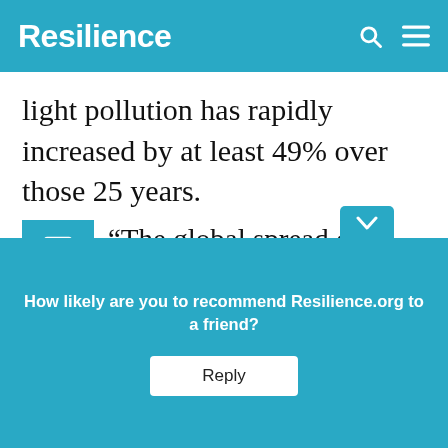Resilience
light pollution has rapidly increased by at least 49% over those 25 years.
“The global spread of artificial light is eroding the natural night-time environment,” says Dr. Alejandro Sánchez de Miguel.
As a ph... appre... e as it
How likely are you to recommend Resilience.org to a friend?
Reply